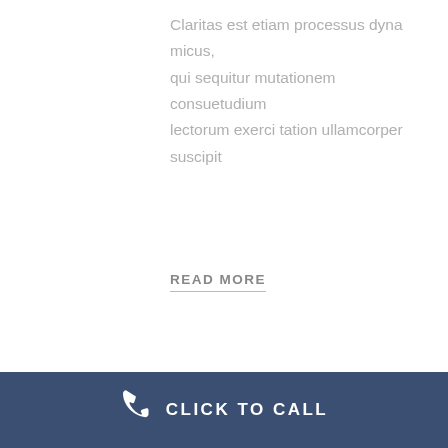Claritas est etiam processus dyna micus, qui sequitur mutationem consuetudium lectorum exerci tation ullamcorper suscipit
READ MORE
[Figure (illustration): Blue-grey square overlapping with section heading below]
HENDRERIT IN VULPUTATE VELIT ESSE MOLESTIE
Claritas est etiam processus dyna micus, qui sequitur mutationem consuetudium lectorum exerci tation ullamcorper
[Figure (illustration): Light beige scroll-to-top button with upward arrow]
CLICK TO CALL